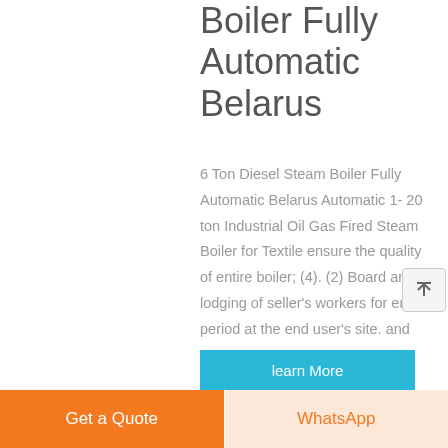Boiler Fully Automatic Belarus
6 Ton Diesel Steam Boiler Fully Automatic Belarus Automatic 1- 20 ton Industrial Oil Gas Fired Steam Boiler for Textile ensure the quality of entire boiler; (4). (2) Board and lodging of seller's workers for entire period at the end user's site. and steam ...
learn More
Get a Quote
WhatsApp